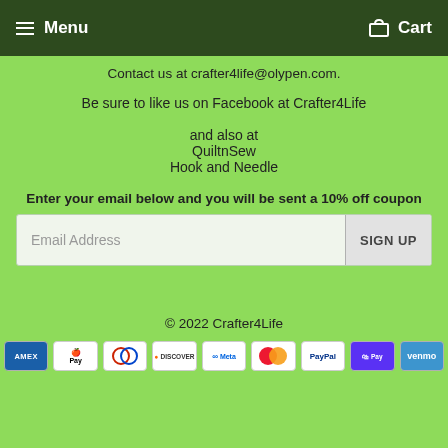Menu  Cart
Contact us at crafter4life@olypen.com.
Be sure to like us on Facebook at Crafter4Life

and also at
QuiltnSew
Hook and Needle
Enter your email below and you will be sent a 10% off coupon
Email Address  SIGN UP
© 2022 Crafter4Life